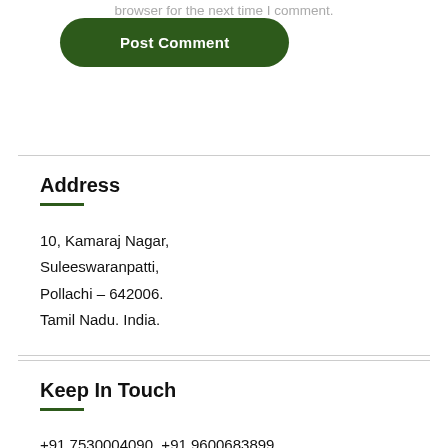browser for the next time I comment.
Post Comment
Address
10, Kamaraj Nagar,
Suleeswaranpatti,
Pollachi – 642006.
Tamil Nadu. India.
Keep In Touch
+91 7530004090, +91 9600683899